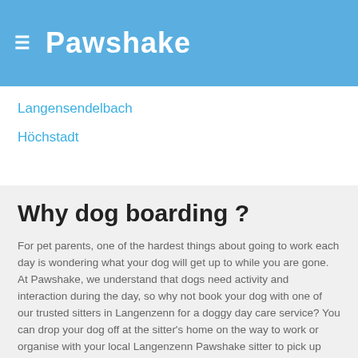Pawshake
Langensendelbach
Höchstadt
Why dog boarding ?
For pet parents, one of the hardest things about going to work each day is wondering what your dog will get up to while you are gone. At Pawshake, we understand that dogs need activity and interaction during the day, so why not book your dog with one of our trusted sitters in Langenzenn for a doggy day care service? You can drop your dog off at the sitter's home on the way to work or organise with your local Langenzenn Pawshake sitter to pick up and drop off your dog for you.